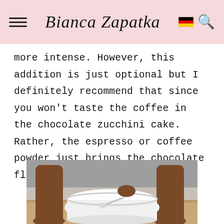Bianca Zapatka
more intense. However, this addition is just optional but I definitely recommend that since you won't taste the coffee in the chocolate zucchini cake. Rather, the espresso or coffee powder just brings the chocolate flavor to the next level!
[Figure (photo): A person holding a spoon over a large white mixing bowl, standing on a wooden floor with a grey couch in the background.]